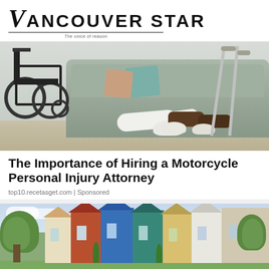Vancouver Star
[Figure (photo): Person with a leg cast sitting on a couch next to a wheelchair, holding crutches — personal injury / medical recovery scene]
The Importance of Hiring a Motorcycle Personal Injury Attorney
top10.recetasget.com | Sponsored
[Figure (photo): Row of colorful townhouses/homes on a street with trees — real estate scene]